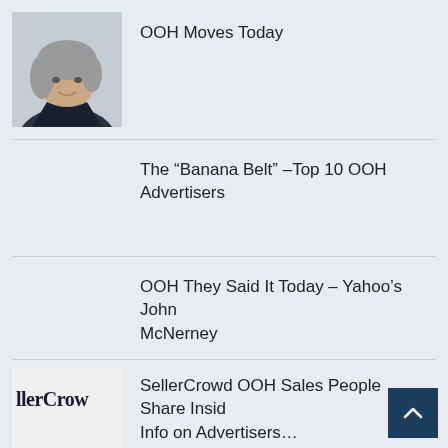OOH Moves Today
The “Banana Belt” –Top 10 OOH Advertisers
OOH They Said It Today – Yahoo’s John McNerney
MGID Partners with PubMatic
SellerCrowd OOH Sales People Share Inside Info on Advertisers…